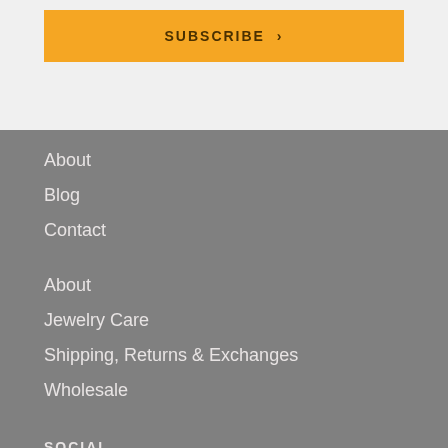SUBSCRIBE >
About
Blog
Contact
About
Jewelry Care
Shipping, Returns & Exchanges
Wholesale
SOCIAL